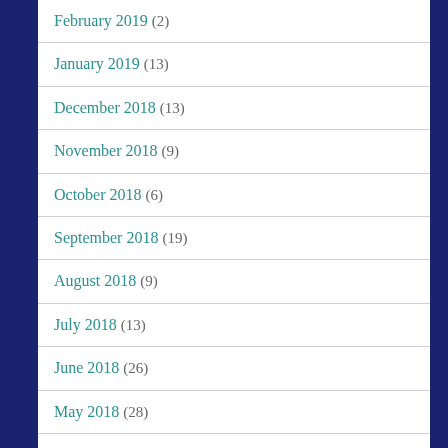February 2019 (2)
January 2019 (13)
December 2018 (13)
November 2018 (9)
October 2018 (6)
September 2018 (19)
August 2018 (9)
July 2018 (13)
June 2018 (26)
May 2018 (28)